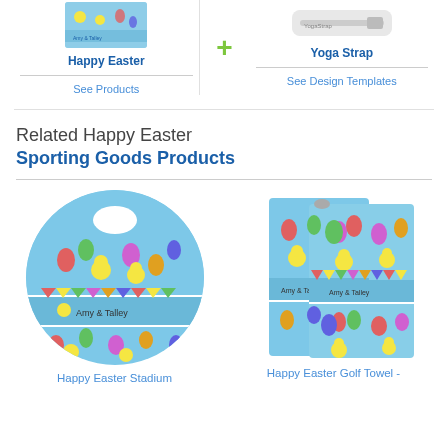[Figure (photo): Happy Easter product thumbnail showing blue patterned item with chicks and eggs]
Happy Easter
See Products
[Figure (photo): Yoga Strap product photo showing a light-colored strap]
Yoga Strap
See Design Templates
Related Happy Easter Sporting Goods Products
[Figure (photo): Happy Easter Stadium round bag with blue Easter chick and egg pattern and personalization]
Happy Easter Stadium
[Figure (photo): Happy Easter Golf Towel with blue Easter chick and egg pattern]
Happy Easter Golf Towel -